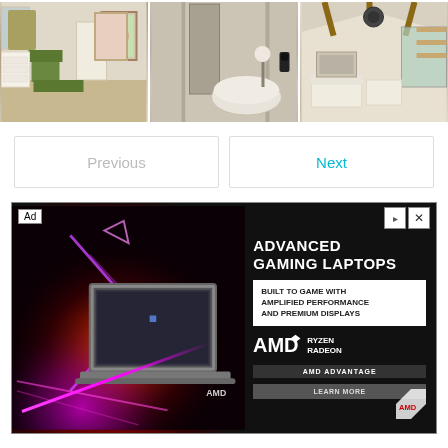[Figure (photo): Three interior room photos in a row: a bedroom with green chair and white furniture, a bathroom with neutral taupe tones and freestanding tub, and a living room with white sofas and vaulted ceiling with wooden beams]
Previous
Next
[Figure (photo): Advertisement banner for Advanced Gaming Laptops by AMD Ryzen Radeon - AMD Advantage. Shows a gaming laptop on a dark background with neon/flame visual effects. Text reads: ADVANCED GAMING LAPTOPS / BUILT TO GAME WITH AMPLIFIED PERFORMANCE AND PREMIUM DISPLAYS / AMDA RYZEN RADEON / AMD ADVANTAGE / LEARN MORE]